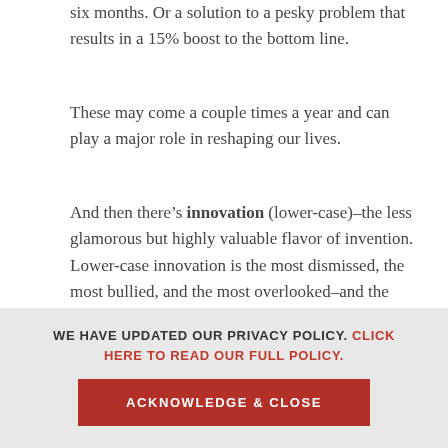six months. Or a solution to a pesky problem that results in a 15% boost to the bottom line.
These may come a couple times a year and can play a major role in reshaping our lives.
And then there’s innovation (lower-case)–the less glamorous but highly valuable flavor of invention. Lower-case innovation is the most dismissed, the most bullied, and the most overlooked–and the most common. But that commonness doesn’t make innovation less powerful, but more so. What do you think has more horsepower–one magnificent thoroughbred racecourse, or 100 small ponies all
WE HAVE UPDATED OUR PRIVACY POLICY. CLICK HERE TO READ OUR FULL POLICY.
ACKNOWLEDGE & CLOSE